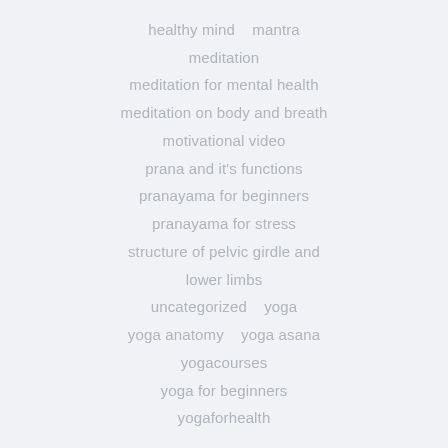healthy mind
mantra
meditation
meditation for mental health
meditation on body and breath
motivational video
prana and it's functions
pranayama for beginners
pranayama for stress
structure of pelvic girdle and lower limbs
uncategorized
yoga
yoga anatomy
yoga asana
yogacourses
yoga for beginners
yogaforhealth